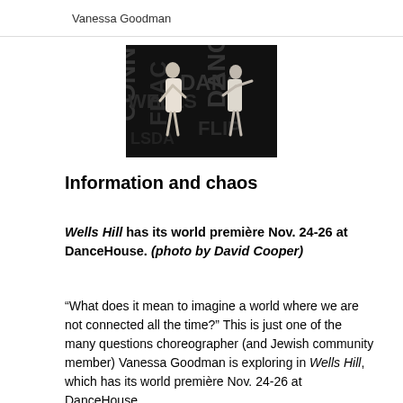Vanessa Goodman
[Figure (photo): Two dancers in white garments performing on a dark stage with large typographic text projected in the background (letters spelling fragments of words). Photo by David Cooper.]
Information and chaos
Wells Hill has its world première Nov. 24-26 at DanceHouse. (photo by David Cooper)
“What does it mean to imagine a world where we are not connected all the time?” This is just one of the many questions choreographer (and Jewish community member) Vanessa Goodman is exploring in Wells Hill, which has its world première Nov. 24-26 at DanceHouse.